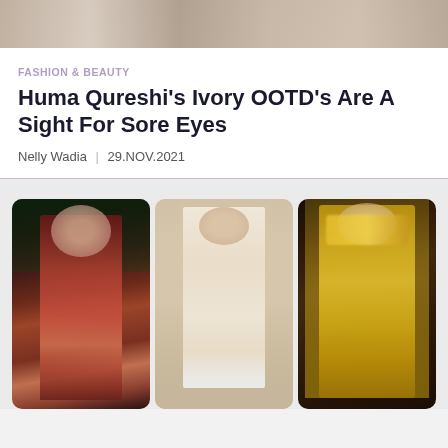[Figure (photo): Top partial image of fashion models in traditional Indian bridal wear, cropped at top of page]
FASHION & BEAUTY
Huma Qureshi’s Ivory OOTD’s Are A Sight For Sore Eyes
Nelly Wadia | 29.NOV.2021
[Figure (photo): Three fashion photos side by side: left - woman in red/maroon bridal lehenga with dark background and green foliage; center - man in ivory/cream sherwani standing in archway; right - woman in yellow lehenga with feather neckpiece against dark background]